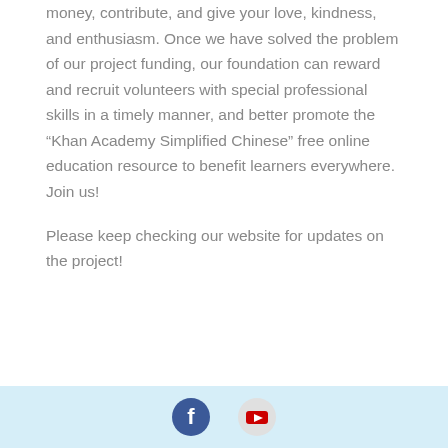money, contribute, and give your love, kindness, and enthusiasm. Once we have solved the problem of our project funding, our foundation can reward and recruit volunteers with special professional skills in a timely manner, and better promote the “Khan Academy Simplified Chinese” free online education resource to benefit learners everywhere. Join us!
Please keep checking our website for updates on the project!
[Figure (logo): Footer bar with Facebook and YouTube social media icons on a light blue background]